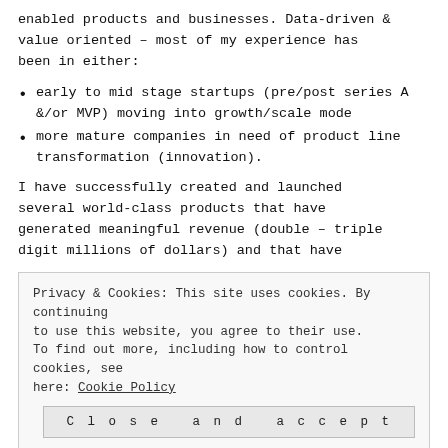enabled products and businesses. Data-driven & value oriented – most of my experience has been in either:
early to mid stage startups (pre/post series A &/or MVP) moving into growth/scale mode
more mature companies in need of product line transformation (innovation).
I have successfully created and launched several world-class products that have generated meaningful revenue (double – triple digit millions of dollars) and that have
Privacy & Cookies: This site uses cookies. By continuing to use this website, you agree to their use.
To find out more, including how to control cookies, see here: Cookie Policy
Close and accept
and less than $1M in annual revenue to over